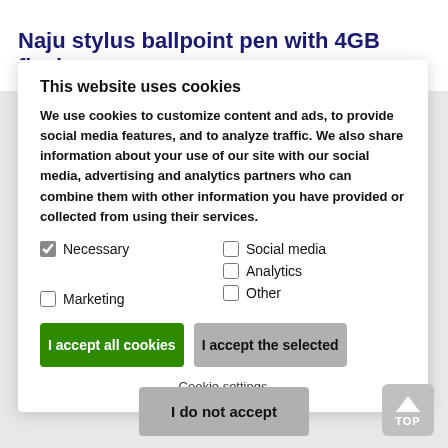Naju stylus ballpoint pen with 4GB flash
This website uses cookies
We use cookies to customize content and ads, to provide social media features, and to analyze traffic. We also share information about your use of our site with our social media, advertising and analytics partners who can combine them with other information you have provided or collected from using their services.
Necessary (checked)
Social media (unchecked)
Analytics (unchecked)
Marketing (unchecked)
Other (unchecked)
I accept all cookies
I accept the selected
Cookie settings
I do not accept